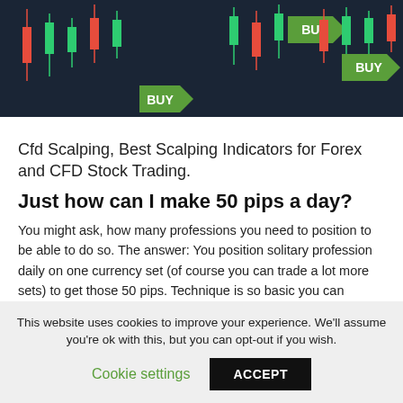[Figure (screenshot): Dark financial trading chart with candlestick patterns and green BUY labels/arrows]
Cfd Scalping, Best Scalping Indicators for Forex and CFD Stock Trading.
Just how can I make 50 pips a day?
You might ask, how many professions you need to position to be able to do so. The answer: You position solitary profession daily on one currency set (of course you can trade a lot more sets) to get those 50 pips. Technique is so basic you can evaluate it within 5 minutes and also see on your own that it functions just as assured.
This website uses cookies to improve your experience. We'll assume you're ok with this, but you can opt-out if you wish.
Cookie settings   ACCEPT